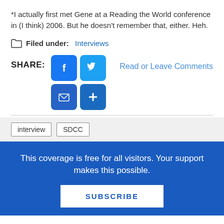*I actually first met Gene at a Reading the World conference in (I think) 2006. But he doesn't remember that, either. Heh.
Filed under: Interviews
SHARE: [Facebook] [Twitter] [Email] [+] Read or Leave Comments
interview  SDCC
This coverage is free for all visitors. Your support makes this possible.
SUBSCRIBE